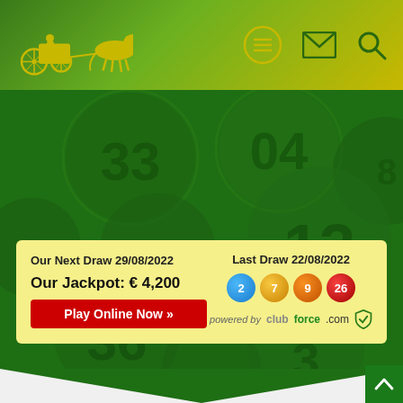[Figure (screenshot): Website header with green-to-yellow gradient background, horse-drawn carriage logo on left, hamburger menu icon in circle center, envelope icon and search icon on right]
[Figure (photo): Dark green background with large lottery balls showing numbers: 33, 04, 13, 22, 36, 3 and other numbers, semi-transparent overlay]
Our Next Draw 29/08/2022
Our Jackpot: € 4,200
Play Online Now »
Last Draw 22/08/2022
2 7 9 26
powered by clubforce.com